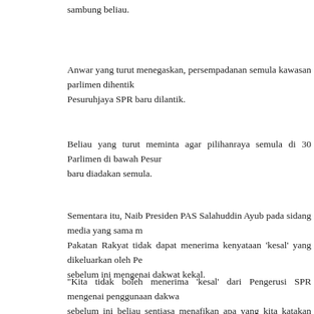sambung beliau.
Anwar yang turut menegaskan, persempadanan semula kawasan parlimen dihentik... Pesuruhjaya SPR baru dilantik.
Beliau yang turut meminta agar pilihanraya semula di 30 Parlimen di bawah Pesur... baru diadakan semula.
Sementara itu, Naib Presiden PAS Salahuddin Ayub pada sidang media yang sama m... Pakatan Rakyat tidak dapat menerima kenyataan 'kesal' yang dikeluarkan oleh Pe... sebelum ini mengenai dakwat kekal.
"Kita tidak boleh menerima 'kesal' dari Pengerusi SPR mengenai penggunaan dakwa... sebelum ini beliau sentiasa menafikan apa yang kita katakan kenapa selkarang baru h...